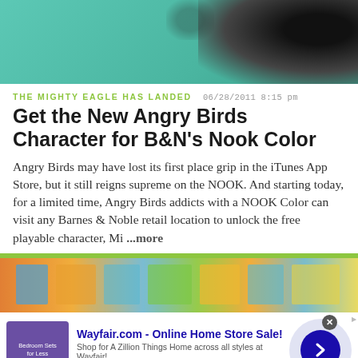[Figure (photo): Top banner image with teal/green background and dark shape (bird silhouette) on the right]
THE MIGHTY EAGLE HAS LANDED   06/28/2011 8:15 pm
Get the New Angry Birds Character for B&N's Nook Color
Angry Birds may have lost its first place grip in the iTunes App Store, but it still reigns supreme on the NOOK. And starting today, for a limited time, Angry Birds addicts with a NOOK Color can visit any Barnes & Noble retail location to unlock the free playable character, Mi ...more
[Figure (photo): Colorful blurred shelf/store image banner]
Wayfair.com - Online Home Store Sale!
Shop for A Zillion Things Home across all styles at Wayfair!
www.wayfair.com